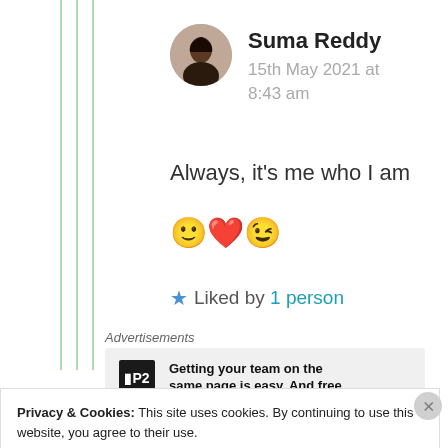Suma Reddy
15th May 2021 at
8:43 am
Always, it’s me who I am 🙂❤️️😉
★ Liked by 1 person
Advertisements
Getting your team on the same page is easy. And free.
Privacy & Cookies: This site uses cookies. By continuing to use this website, you agree to their use.
To find out more, including how to control cookies, see here: Cookie Policy
Close and accept